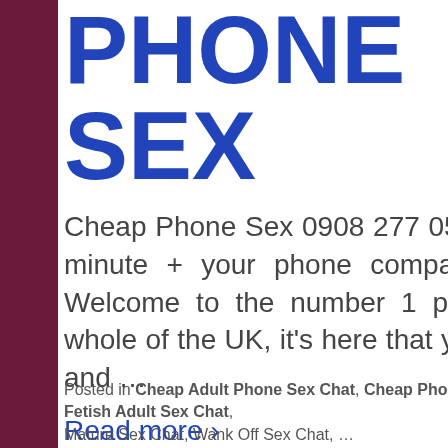PHONE SEX
Cheap Phone Sex 0908 277 0582 (Call cost 35p per minute + your phone company's access charge) Welcome to the number 1 phone sex line in the whole of the UK, it's here that you can get very close and …
Read more ›
Posted in Cheap Adult Phone Sex Chat, Cheap Phone Sex, Fantasy Phone Sex Chat, Fetish Adult Sex Chat, Mature Sex Chat, Wank Off Sex Chat, …